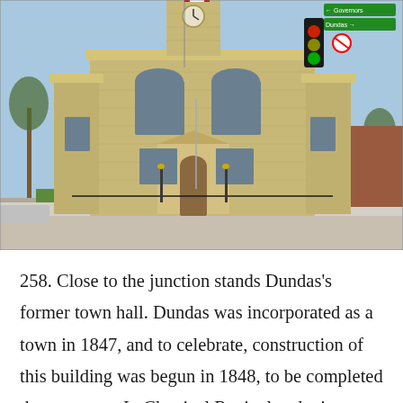[Figure (photo): Photograph of Dundas's former town hall, a Classical Revival sandstone building with a clock tower and Canadian flag, located at a street intersection with traffic lights and street signs for Governors Road and Dundas Street.]
258. Close to the junction stands Dundas's former town hall. Dundas was incorporated as a town in 1847, and to celebrate, construction of this building was begun in 1848, to be completed the next year. In Classical Revival style, it was designed and built from sandstone by local men at a cost of £2,500. It's been called the finest surviving pre-Confederation municipal building